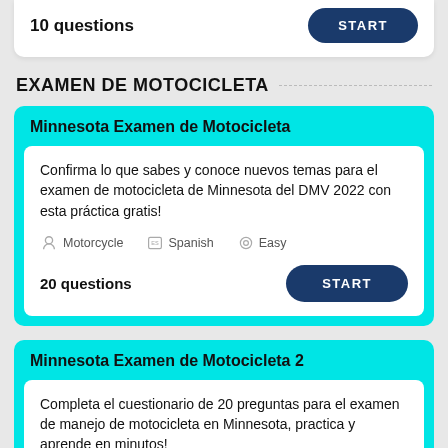10 questions
EXAMEN DE MOTOCICLETA
Minnesota Examen de Motocicleta
Confirma lo que sabes y conoce nuevos temas para el examen de motocicleta de Minnesota del DMV 2022 con esta práctica gratis!
Motorcycle
Spanish
Easy
20 questions
Minnesota Examen de Motocicleta 2
Completa el cuestionario de 20 preguntas para el examen de manejo de motocicleta en Minnesota, practica y aprende en minutos!
Motorcycle
Spanish
Hard